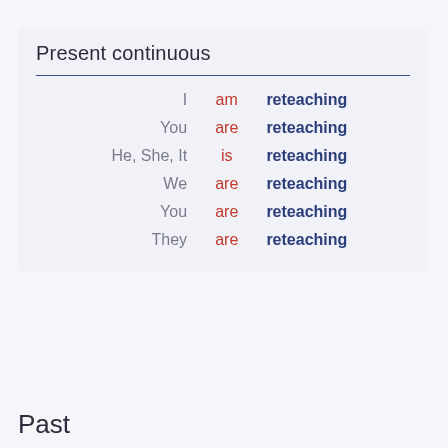Present continuous
| Pronoun | Verb | Participle |
| --- | --- | --- |
| I | am | reteaching |
| You | are | reteaching |
| He, She, It | is | reteaching |
| We | are | reteaching |
| You | are | reteaching |
| They | are | reteaching |
Past